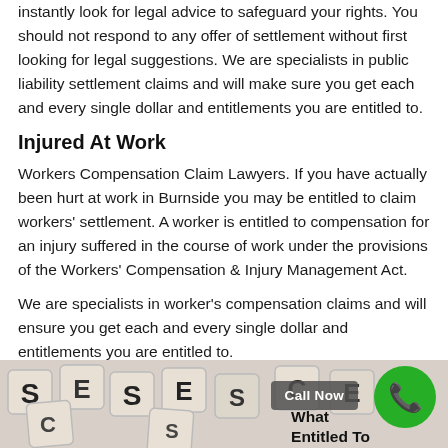instantly look for legal advice to safeguard your rights. You should not respond to any offer of settlement without first looking for legal suggestions. We are specialists in public liability settlement claims and will make sure you get each and every single dollar and entitlements you are entitled to.
Injured At Work
Workers Compensation Claim Lawyers. If you have actually been hurt at work in Burnside you may be entitled to claim workers' settlement. A worker is entitled to compensation for an injury suffered in the course of work under the provisions of the Workers' Compensation & Injury Management Act.
We are specialists in worker's compensation claims and will ensure you get each and every single dollar and entitlements you are entitled to.
[Figure (photo): Scrabble letter tiles visible at the bottom of the page, with partial letters visible. A green circular phone/call icon and a dark 'Call Now' button overlay. Text 'What Entitled To' partially visible.]